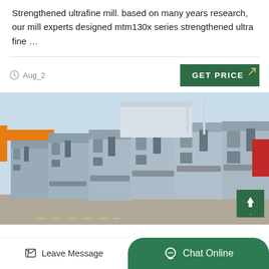Strengthened ultrafine mill. based on many years research, our mill experts designed mtm130x series strengthened ultra fine …
Aug_2
[Figure (photo): Row of large grey industrial electrical transformer units or filter units in an outdoor industrial yard, with an orange crane beam visible on the left and a red panel on the rightmost unit. Blue sky in background.]
Leave Message  Chat Online